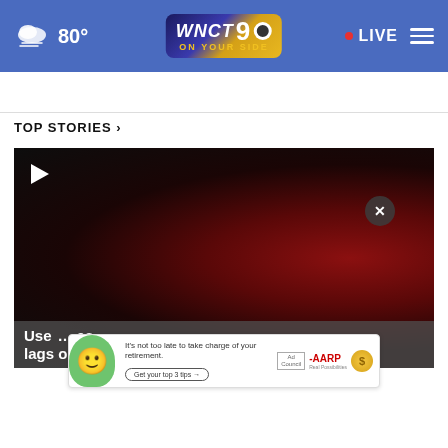80° WNCT 9 ON YOUR SIDE • LIVE
TOP STORIES ›
[Figure (screenshot): Dark video thumbnail with deep red glowing background, play button in top-left corner. Partially visible headline text at bottom: 'Use... es, lags opioid deaths']
It's not too late to take charge of your retirement. Get your top 3 tips → Ad Council AARP Real Possibilities
Use...es, lags opioid deaths